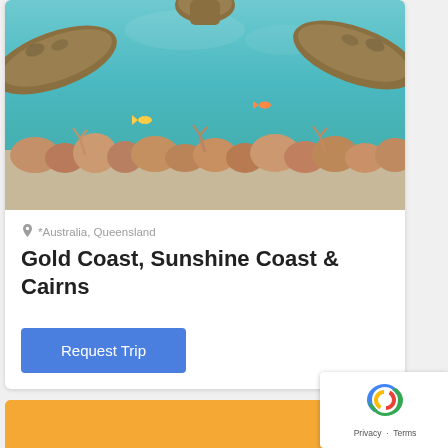[Figure (photo): Underwater photo showing a sea turtle swimming above a coral reef with turquoise water, viewed from below looking up at the turtle's flippers and underside, with coral formations visible below]
♡ *Australia, Queensland
Gold Coast, Sunshine Coast & Cairns
Request Trip
[Figure (photo): Partial view of a second card with orange/golden background, beginning to appear at the bottom of the screen]
[Figure (other): reCAPTCHA badge showing the Google reCAPTCHA logo with Privacy and Terms links]